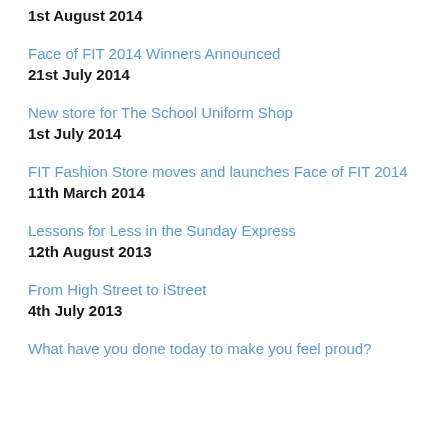1st August 2014
Face of FIT 2014 Winners Announced
21st July 2014
New store for The School Uniform Shop
1st July 2014
FIT Fashion Store moves and launches Face of FIT 2014
11th March 2014
Lessons for Less in the Sunday Express
12th August 2013
From High Street to iStreet
4th July 2013
What have you done today to make you feel proud?